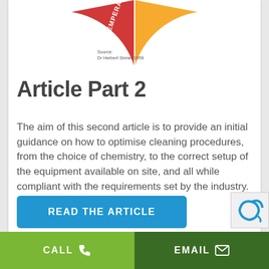[Figure (other): Partial circular diagram visible at top of page showing colored segments (red/orange) with rotated text labels 'TEMPERA...' and '...HANIC'. Source credit: Dr Herbert Sinner 1959]
Source: Dr Herbert Sinner 1959
Article Part 2
The aim of this second article is to provide an initial guidance on how to optimise cleaning procedures, from the choice of chemistry, to the correct setup of the equipment available on site, and all while compliant with the requirements set by the industry.
[Figure (other): Blue button with text READ THE ARTICLE]
CALL   EMAIL